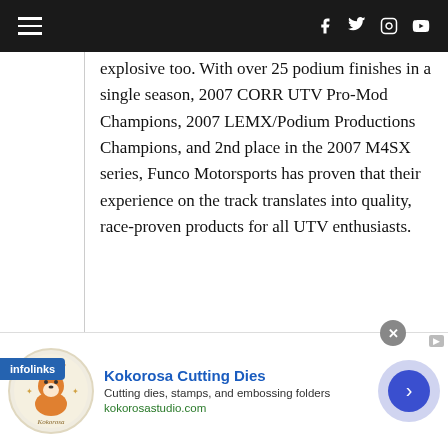Navigation bar with hamburger menu and social icons
explosive too. With over 25 podium finishes in a single season, 2007 CORR UTV Pro-Mod Champions, 2007 LEMX/Podium Productions Champions, and 2nd place in the 2007 M4SX series, Funco Motorsports has proven that their experience on the track translates into quality, race-proven products for all UTV enthusiasts.
About Sway-A-Way:
For 30 years...
[Figure (other): Infolinks advertisement badge in blue]
[Figure (other): Kokorosa Cutting Dies advertisement banner with logo, text, and navigation arrow]